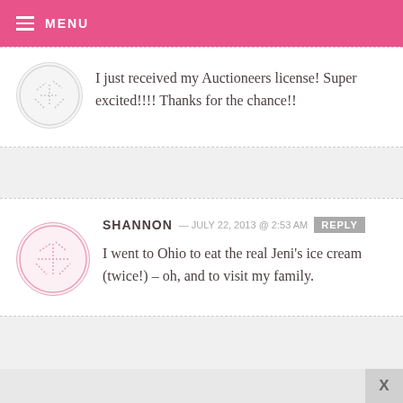MENU
I just received my Auctioneers license! Super excited!!!! Thanks for the chance!!
SHANNON — JULY 22, 2013 @ 2:53 AM  REPLY
I went to Ohio to eat the real Jeni's ice cream (twice!) – oh, and to visit my family.